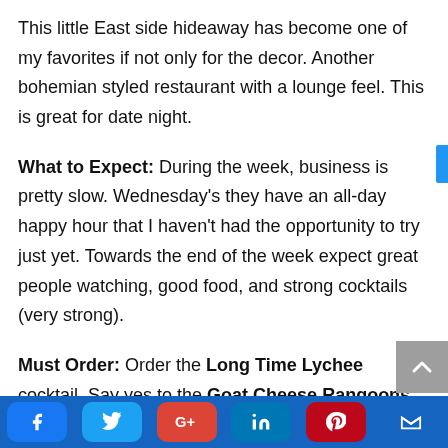This little East side hideaway has become one of my favorites if not only for the decor. Another bohemian styled restaurant with a lounge feel. This is great for date night.
What to Expect: During the week, business is pretty slow. Wednesday's they have an all-day happy hour that I haven't had the opportunity to try just yet. Towards the end of the week expect great people watching, good food, and strong cocktails (very strong).
Must Order: Order the Long Time Lychee cocktail. Say yes to the Goat Cheese Rangoons and the